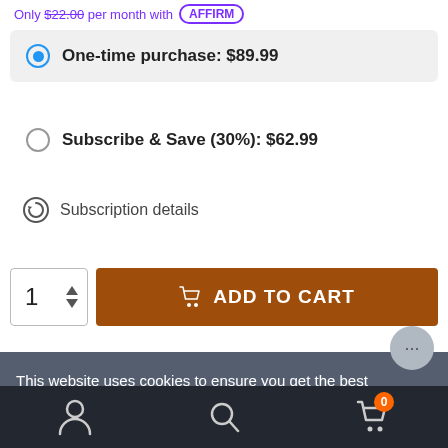Only $22.00 per month with AFFIRM
One-time purchase: $89.99
Subscribe & Save (30%): $62.99
Subscription details
1  ADD TO CART
Meet Gummies Rx Focus: your new favorite gummy delivering smooth energy and motivation to keep you functioning all day. Featuring the potent combo of CBD and A9THC, Gummies Rx Focus eliminates...
This website uses cookies to ensure you get the best experience on our website.
Learn more
Got it
Account  Search  Cart (0)